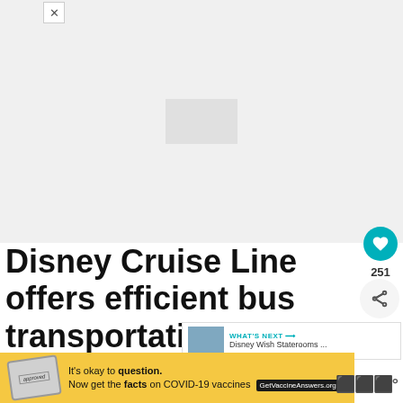[Figure (photo): Faded/blank image placeholder at top of page]
Disney Cruise Line offers efficient bus transportation from Orlando International Airport. This is one of the easiest ways to get to Disney's Cruise Port from Orlando A...
[Figure (infographic): WHAT'S NEXT arrow with thumbnail of Disney Wish Staterooms and text 'Disney Wish Staterooms ...']
[Figure (infographic): Advertisement banner: It's okay to question. Now get the facts on COVID-19 vaccines. GetVaccineAnswers.org]